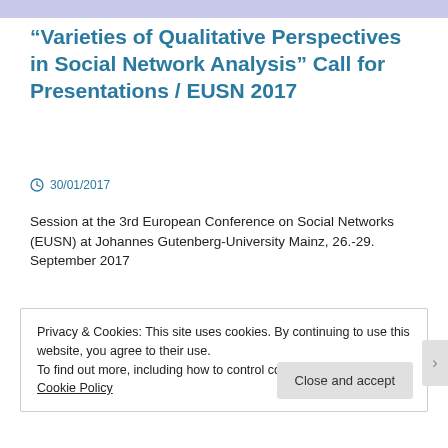“Varieties of Qualitative Perspectives in Social Network Analysis” Call for Presentations / EUSN 2017
30/01/2017
Session at the 3rd European Conference on Social Networks (EUSN) at Johannes Gutenberg-University Mainz, 26.-29. September 2017
Privacy & Cookies: This site uses cookies. By continuing to use this website, you agree to their use.
To find out more, including how to control cookies, see here: Cookie Policy
Close and accept